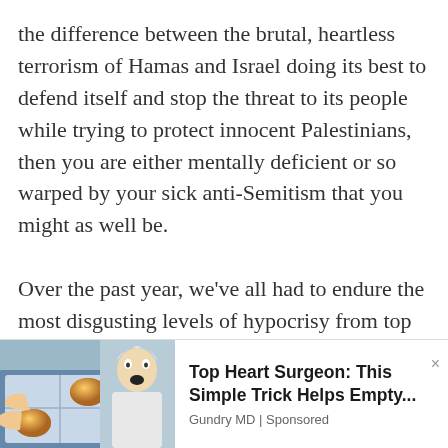the difference between the brutal, heartless terrorism of Hamas and Israel doing its best to defend itself and stop the threat to its people while trying to protect innocent Palestinians, then you are either mentally deficient or so warped by your sick anti-Semitism that you might as well be.
Over the past year, we've all had to endure the most disgusting levels of hypocrisy from top level Democrats, as they excused, enabled and justified a
[Figure (photo): Advertisement image showing a person holding eggs near an egg carton, alongside a photo of an older man (surgeon)]
Top Heart Surgeon: This Simple Trick Helps Empty... Gundry MD | Sponsored